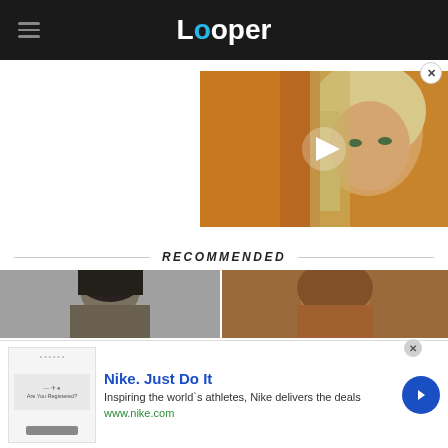Looper
[Figure (photo): Video thumbnail showing a young woman with long blonde hair against a warm/firelit background, with a white play button triangle overlay]
RECOMMENDED
[Figure (photo): Left recommended thumbnail: man with dark hair on gray background]
[Figure (photo): Right recommended thumbnail: person with reddish/brown tones]
[Figure (infographic): Nike advertisement banner: 'Nike. Just Do It' - Inspiring the world's athletes, Nike delivers the deals - www.nike.com, with ad image and blue arrow button]